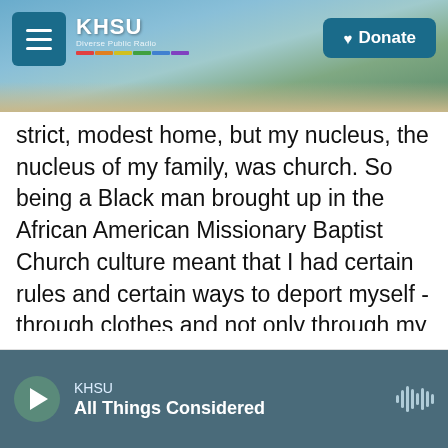[Figure (screenshot): KHSU radio station website header with beach/coastal background photo, hamburger menu button, KHSU logo, and Donate button]
strict, modest home, but my nucleus, the nucleus of my family, was church. So being a Black man brought up in the African American Missionary Baptist Church culture meant that I had certain rules and certain ways to deport myself - through clothes and not only through my actions or attitudes about life. But when I got to meet Andy Warhol and people were walking around in jeans and blazers and sometimes Rive Gauche and sometimes not Rive Gauche, the world came to the doors of the Factory and Andy Warhol. Interview was the gateway to the world for me.
KHSU — All Things Considered